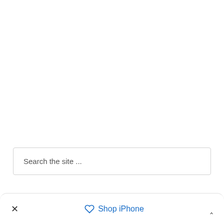Search the site ...
× Shop iPhone ⌃